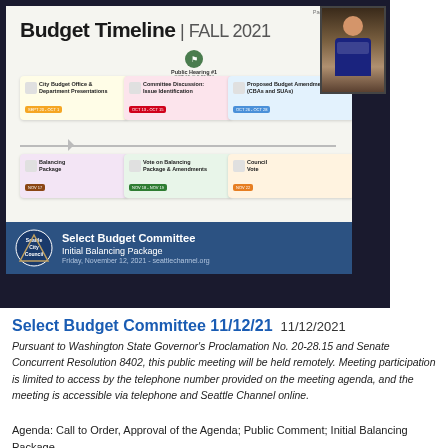[Figure (screenshot): Screenshot of a video conference showing a Seattle City Council Budget Timeline presentation slide for Fall 2021. The slide shows a timeline with Public Hearing #1, City Budget Office & Department Presentations, Committee Discussion: Issue Identification, Proposed Budget Amendments, Balancing Package, Vote on Balancing Package & Amendments, Council Vote, Public Hearing #2 and #3. Lower bar shows Seattle City Council Select Budget Committee Initial Balancing Package, Friday, November 12, 2021 - seattlechannel.org. A speaker thumbnail is visible in the top right.]
Select Budget Committee 11/12/21  11/12/2021
Pursuant to Washington State Governor's Proclamation No. 20-28.15 and Senate Concurrent Resolution 8402, this public meeting will be held remotely. Meeting participation is limited to access by the telephone number provided on the meeting agenda, and the meeting is accessible via telephone and Seattle Channel online.
Agenda: Call to Order, Approval of the Agenda; Public Comment; Initial Balancing Package.